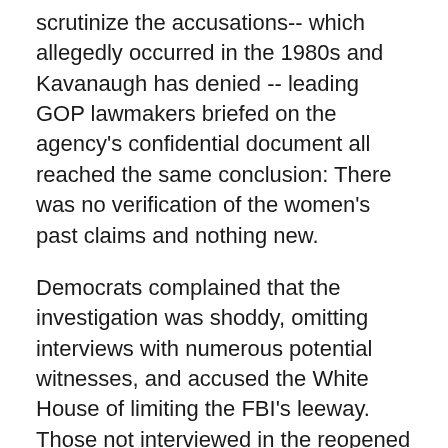scrutinize the accusations-- which allegedly occurred in the 1980s and Kavanaugh has denied -- leading GOP lawmakers briefed on the agency's confidential document all reached the same conclusion: There was no verification of the women's past claims and nothing new.
Democrats complained that the investigation was shoddy, omitting interviews with numerous potential witnesses, and accused the White House of limiting the FBI's leeway. Those not interviewed in the reopened background investigation included Kavanaugh himself and Christine Blasey Ford, who ignited the furor by alleging he'd molested her in a locked room at a 1982 high school gathering.
A week after a televised Senate Judiciary Committee